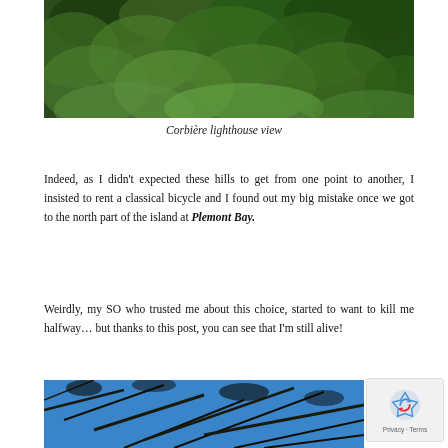[Figure (photo): Dense green foliage and trees viewed from above or close up, dark green tones, natural outdoor scene near Corbière lighthouse]
Corbière lighthouse view
Indeed, as I didn't expected these hills to get from one point to another, I insisted to rent a classical bicycle and I found out my big mistake once we got to the north part of the island at Plemont Bay.
Weirdly, my SO who trusted me about this choice, started to want to kill me halfway… but thanks to this post, you can see that I'm still alive!
[Figure (photo): Tree branches silhouetted against a bright blue sky, photographed from below looking up]